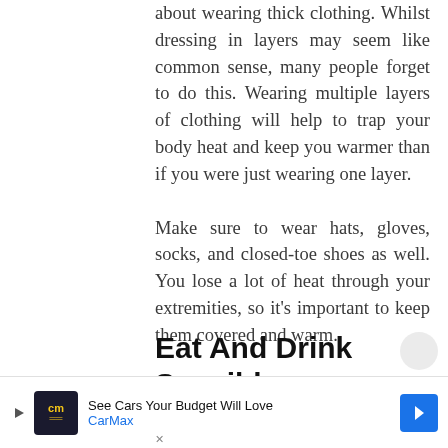about wearing thick clothing. Whilst dressing in layers may seem like common sense, many people forget to do this. Wearing multiple layers of clothing will help to trap your body heat and keep you warmer than if you were just wearing one layer.
Make sure to wear hats, gloves, socks, and closed-toe shoes as well. You lose a lot of heat through your extremities, so it's important to keep them covered and warm.
Eat And Drink Sensibly
Eating Sensibly...
[Figure (other): CarMax advertisement banner: 'See Cars Your Budget Will Love' with CarMax logo and blue arrow icon]